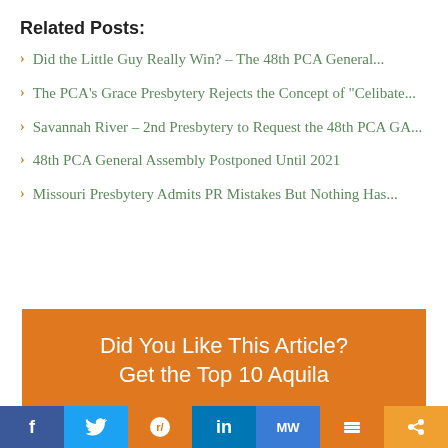Related Posts:
Did the Little Guy Really Win? – The 48th PCA General...
The PCA's Grace Presbytery Rejects the Concept of "Celibate...
Savannah River – 2nd Presbytery to Request the 48th PCA GA...
48th PCA General Assembly Postponed Until 2021
Missouri Presbytery Admits PR Mistakes But Nothing Has...
Did You Like This Article? Get the Top 10 Aquila
[Figure (infographic): Social media sharing bar with buttons for Facebook, Twitter, Reddit, LinkedIn, MeWe, Mix, and Share]